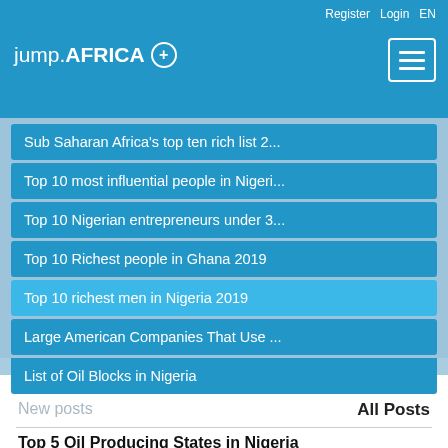jump.AFRICA + | Register Login EN
Sub Saharan Africa's top ten rich list 2...
Top 10 most influential people in Nigeri...
Top 10 Nigerian entrepreneurs under 3...
Top 10 Richest people in Ghana 2019
Top 10 richest men in Nigeria 2019
Large American Companies That Use ...
List of Oil Blocks in Nigeria
New posts
All Posts
Top 5 Oil Producing States in Nigeria